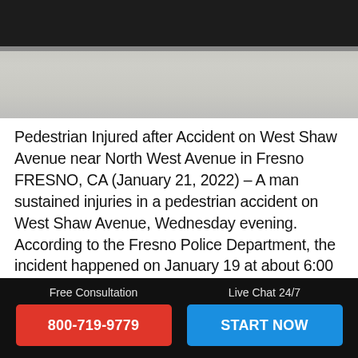[Figure (photo): Close-up photo of a road crosswalk — dark asphalt stripe at top and cracked concrete/pavement below]
Pedestrian Injured after Accident on West Shaw Avenue near North West Avenue in Fresno   FRESNO, CA (January 21, 2022) – A man sustained injuries in a pedestrian accident on West Shaw Avenue, Wednesday evening.   According to the Fresno Police Department, the incident happened on January 19 at about 6:00 p.m. As per reports, [...]
CONTINUE READING →
Free Consultation
800-719-9779
Live Chat 24/7
START NOW